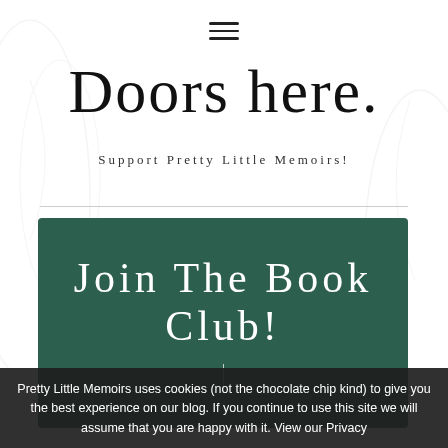≡ (hamburger menu icon)
Doors here.
Support Pretty Little Memoirs!
Join The Book Club!
Pretty Little Memoirs uses cookies (not the chocolate chip kind) to give you the best experience on our blog. If you continue to use this site we will assume that you are happy with it. View our Privacy